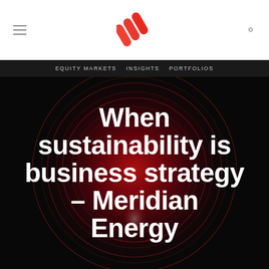EQUITY MARKETS   INSIGHTS   PORTFOLIOS
When sustainability is business strategy – Meridian Energy